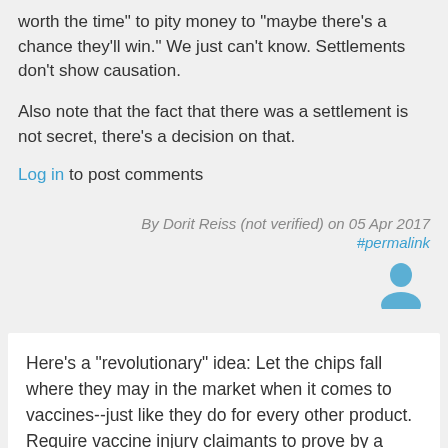worth the time" to pity money to "maybe there's a chance they'll win." We just can't know. Settlements don't show causation.
Also note that the fact that there was a settlement is not secret, there's a decision on that.
Log in to post comments
By Dorit Reiss (not verified) on 05 Apr 2017
#permalink
[Figure (illustration): User avatar icon in blue/grey color]
Here's a "revolutionary" idea: Let the chips fall where they may in the market when it comes to vaccines--just like they do for every other product. Require vaccine injury claimants to prove by a preponderance of the evidence that the vaccine caused their injury. Let them have a right to a jury decision on the matter, just like they would in any other product liability case. If